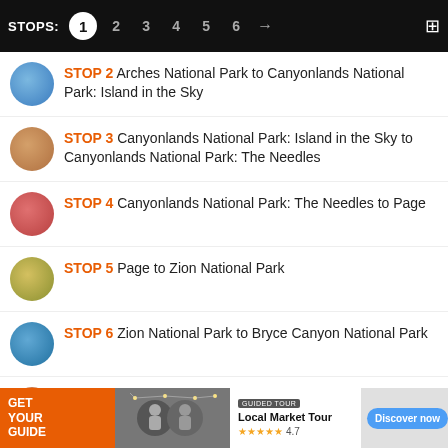STOPS: 1 2 3 4 5 6 → ⊞
STOP 2  Arches National Park to Canyonlands National Park: Island in the Sky
STOP 3  Canyonlands National Park: Island in the Sky to Canyonlands National Park: The Needles
STOP 4  Canyonlands National Park: The Needles to Page
STOP 5  Page to Zion National Park
STOP 6  Zion National Park to Bryce Canyon National Park
STOP 7  Bryce Canyon National Park to Grand Staircase-Escalante National Monument
STOP 8  Grand Staircase-Escalante National Monument to Capitol Reef National Park
STOP 9  Capitol Reef National Park to Salt Lake City
[Figure (infographic): Advertisement banner: GET YOUR GUIDE - Local Market Tour, 4.7 stars, Discover now button]